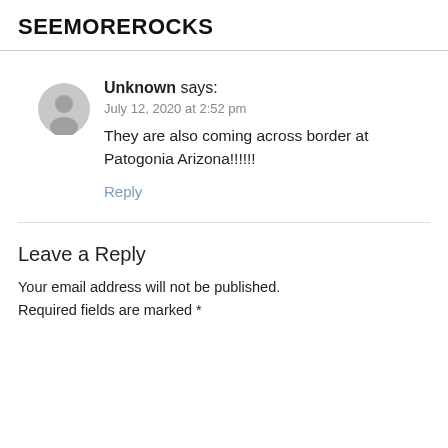SEEMOREROCKS
Unknown says:
July 12, 2020 at 2:52 pm
They are also coming across border at Patogonia Arizona!!!!!!
Reply
Leave a Reply
Your email address will not be published. Required fields are marked *